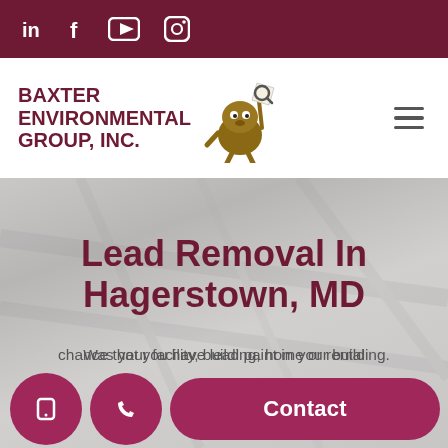Social media icons: LinkedIn, Facebook, YouTube, Instagram
[Figure (logo): Baxter Environmental Group, Inc. logo with mascot character holding a magnifying glass]
Lead Removal In Hagerstown, MD
Was your facility, building, home or rental property built prior to 1978? If there's a chance that you have lead paint in your building.
Contact button and navigation icons